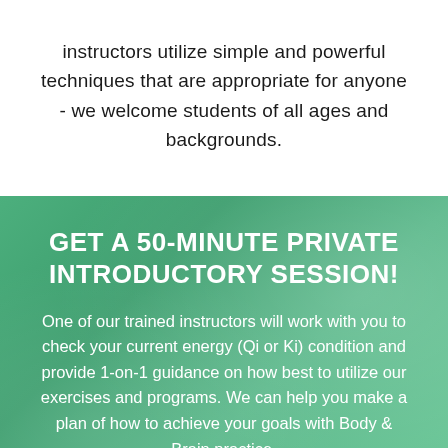instructors utilize simple and powerful techniques that are appropriate for anyone - we welcome students of all ages and backgrounds.
GET A 50-MINUTE PRIVATE INTRODUCTORY SESSION!
One of our trained instructors will work with you to check your current energy (Qi or Ki) condition and provide 1-on-1 guidance on how best to utilize our exercises and programs. We can help you make a plan of how to achieve your goals with Body & Brain practice.
Only $20